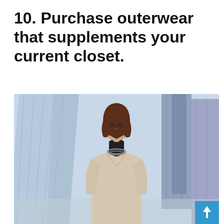10. Purchase outerwear that supplements your current closet.
[Figure (photo): A professional woman with brown hair and glasses wearing a light beige blazer over a black turtleneck with a statement necklace, photographed outdoors in front of modern glass skyscrapers with a cool blue-grey sky.]